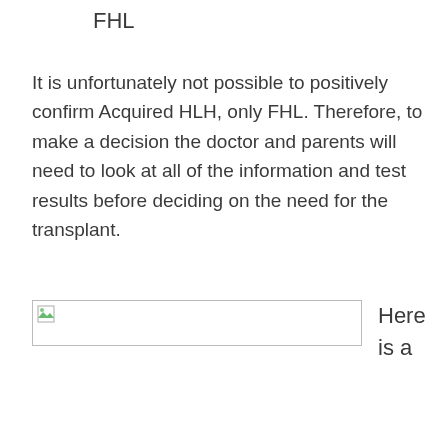FHL
It is unfortunately not possible to positively confirm Acquired HLH, only FHL. Therefore, to make a decision the doctor and parents will need to look at all of the information and test results before deciding on the need for the transplant.
[Figure (other): Broken image placeholder box with a small image icon in the top-left corner]
Here is a